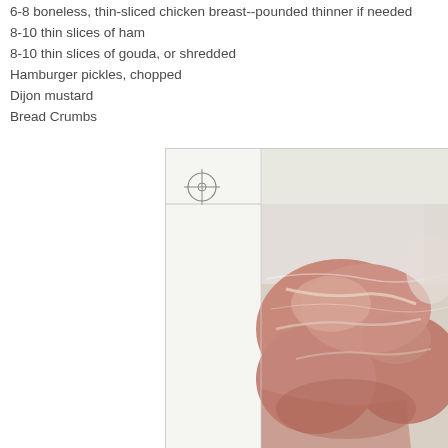6-8 boneless, thin-sliced chicken breast--pounded thinner if needed
8-10 thin slices of ham
8-10 thin slices of gouda, or shredded
Hamburger pickles, chopped
Dijon mustard
Bread Crumbs
[Figure (photo): Raw chicken breasts pounded thin, partially visible in a plastic bag or wrap, showing pink meat with connective tissue on a light surface. The photo is partially cropped and slightly blurred. A crosshair/registration mark is visible at the top-left corner of the image frame.]